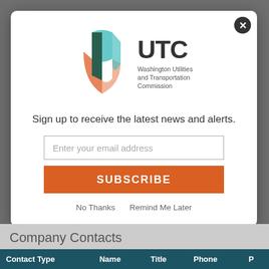[Figure (logo): UTC Washington Utilities and Transportation Commission logo with abstract colorful shield/leaf shape]
Sign up to receive the latest news and alerts.
Enter your email address
SUBSCRIBE
No Thanks   Remind Me Later
Company Contacts
| Contact Type | Name | Title | Phone |  |
| --- | --- | --- | --- | --- |